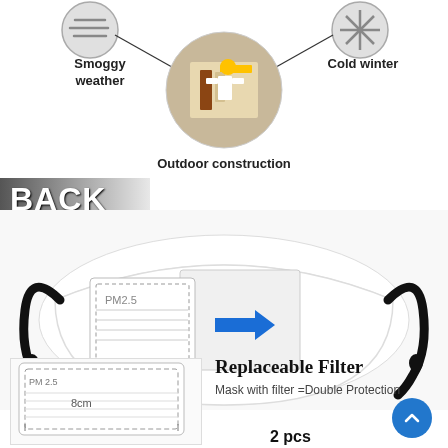[Figure (infographic): Top section showing circular icons for 'Smoggy weather' on the left and 'Cold winter' on the right, connected by lines to a circular photo of a person doing outdoor construction work in the center. Label 'Outdoor construction' below center photo.]
Smoggy weather
Cold winter
Outdoor construction
[Figure (photo): Large product photo showing the back side of a white fabric face mask with adjustable black ear straps. A PM2.5 filter insert is shown partially inserted into a pocket on the back of the mask, with a blue arrow indicating the direction of filter insertion.]
BACK
[Figure (photo): Bottom left: photo of a PM2.5 replaceable filter insert, rectangular with dashed border edges and labeled 'PM 2.5', with measurement annotation of 8cm.]
Replaceable Filter
Mask with filter =Double Protection
2 pcs